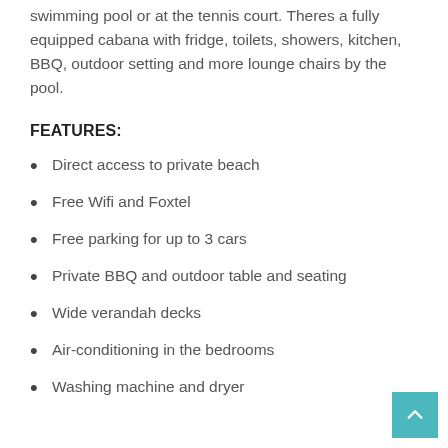swimming pool or at the tennis court. Theres a fully equipped cabana with fridge, toilets, showers, kitchen, BBQ, outdoor setting and more lounge chairs by the pool.
FEATURES:
Direct access to private beach
Free Wifi and Foxtel
Free parking for up to 3 cars
Private BBQ and outdoor table and seating
Wide verandah decks
Air-conditioning in the bedrooms
Washing machine and dryer